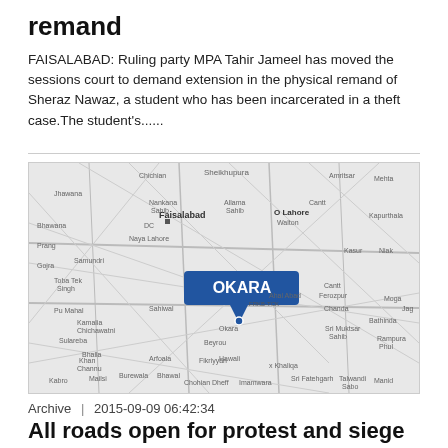remand
FAISALABAD: Ruling party MPA Tahir Jameel has moved the sessions court to demand extension in the physical remand of Sheraz Nawaz, a student who has been incarcerated in a theft case.The student's......
[Figure (map): Map showing the Okara region in Pakistan with a blue pin/label reading OKARA, surrounded by roads and neighboring cities including Faisalabad, Sahiwal, and Lahore area.]
Archive  |  2015-09-09 06:42:34
All roads open for protest and siege
OKARA: The GT Road connecting Sahiwal and Okara remained closed to traffic for 55 hours from Sept 1 to 3. Hundreds of the Anjuman Mozraeen Punjab (AMP) besieged the road in protest at the